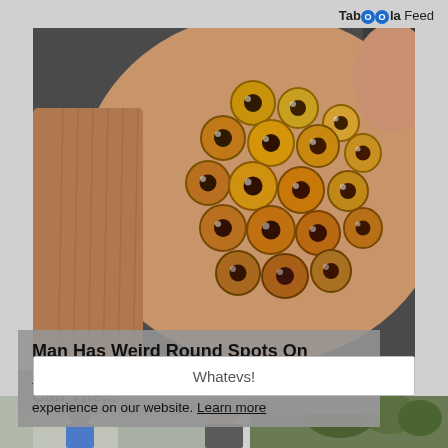Taboola Feed
[Figure (photo): Close-up macro photo of a fingertip with a cluster of round honeycomb-like spots that appear to have small dark pupils, resembling a lotus seed pod pattern on skin.]
Man Has Weird Round Spots On Finger - When The Doctors See It They Call The...
FactAhead | Sponsored
This website uses cookies to ensure you get the best experience on our website. Learn more
Whatevs!
[Figure (photo): Bottom strip showing partial images of people outdoors]